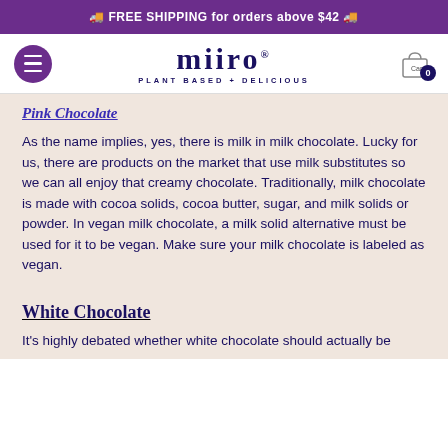🚚 FREE SHIPPING for orders above $42 🚚
[Figure (logo): Miiro logo — stylized text 'miiro' with two dots above the i's and a registered trademark symbol, subtitle 'PLANT BASED + DELICIOUS' in dark navy. Navigation bar with purple hamburger menu button on left and shopping cart icon on right showing 0 items.]
Pink Chocolate
As the name implies, yes, there is milk in milk chocolate. Lucky for us, there are products on the market that use milk substitutes so we can all enjoy that creamy chocolate. Traditionally, milk chocolate is made with cocoa solids, cocoa butter, sugar, and milk solids or powder. In vegan milk chocolate, a milk solid alternative must be used for it to be vegan. Make sure your milk chocolate is labeled as vegan.
White Chocolate
It's highly debated whether white chocolate should actually be